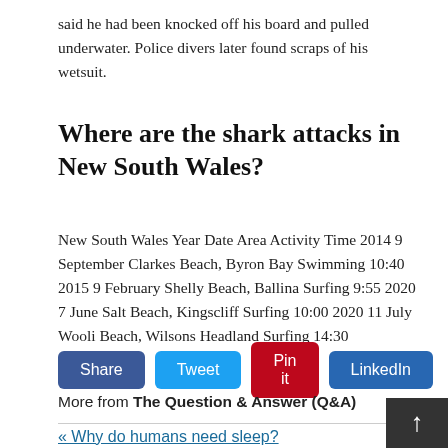said he had been knocked off his board and pulled underwater. Police divers later found scraps of his wetsuit.
Where are the shark attacks in New South Wales?
New South Wales Year Date Area Activity Time 2014 9 September Clarkes Beach, Byron Bay Swimming 10:40 2015 9 February Shelly Beach, Ballina Surfing 9:55 2020 7 June Salt Beach, Kingscliff Surfing 10:00 2020 11 July Wooli Beach, Wilsons Headland Surfing 14:30
[Figure (other): Social sharing buttons: Share (blue), Tweet (light blue), Pin it (red), LinkedIn (dark blue)]
More from The Question & Answer (Q&A)
« Why do humans need sleep?